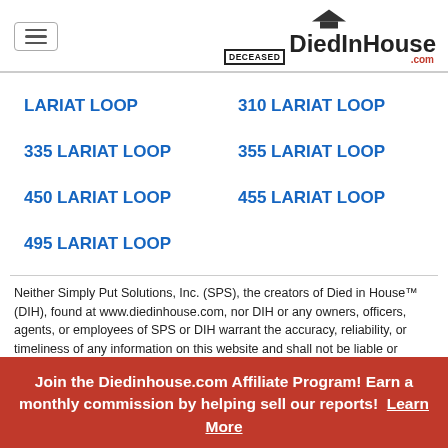DiedInHouse.com
LARIAT LOOP
310 LARIAT LOOP
335 LARIAT LOOP
355 LARIAT LOOP
450 LARIAT LOOP
455 LARIAT LOOP
495 LARIAT LOOP
Neither Simply Put Solutions, Inc. (SPS), the creators of Died in House™ (DIH), found at www.diedinhouse.com, nor DIH or any owners, officers, agents, or employees of SPS or DIH warrant the accuracy, reliability, or timeliness of any information on this website and shall not be liable or responsible for any losses caused by such reliance on the information or services found within. This includes, as well as any alleged lost sales or diminished property value. The information appearing on any SPS or DIH website platform constitutes a claim
Join the Diedinhouse.com Affiliate Program! Earn a monthly commission by helping sell our reports! Learn More